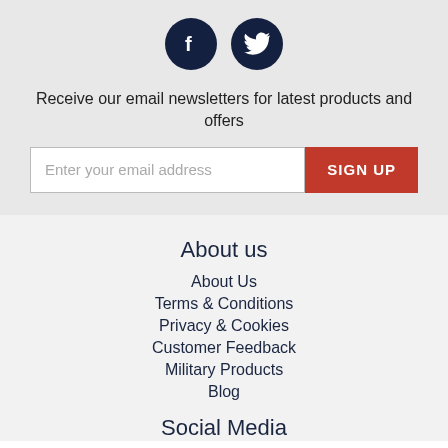[Figure (illustration): Two dark navy circular social media icons: Facebook (f) and Twitter (bird)]
Receive our email newsletters for latest products and offers
[Figure (other): Email input field with placeholder 'Enter your email address' and a red SIGN UP button]
About us
About Us
Terms & Conditions
Privacy & Cookies
Customer Feedback
Military Products
Blog
Social Media